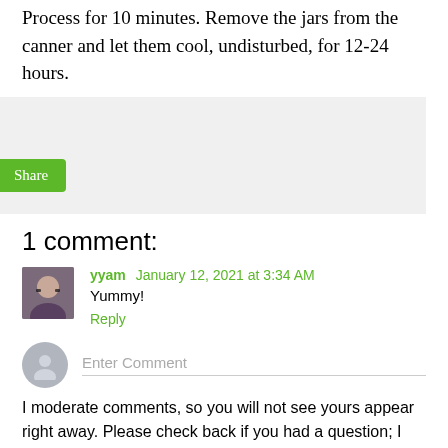Process for 10 minutes. Remove the jars from the canner and let them cool, undisturbed, for 12-24 hours.
[Figure (other): Share button inside a light gray box]
1 comment:
yyam January 12, 2021 at 3:34 AM
Yummy!
Reply
Enter Comment
I moderate comments, so you will not see yours appear right away. Please check back if you had a question; I